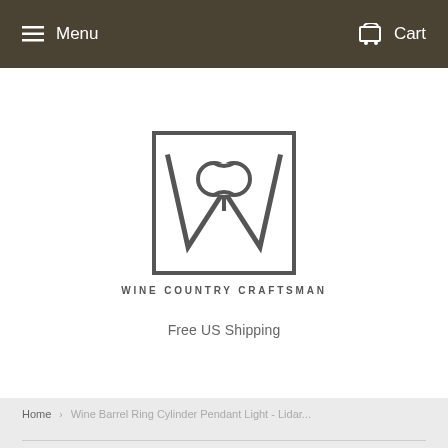Menu   Cart
[Figure (logo): Wine Country Craftsman logo: a square border containing a stylized W monogram with interlocking circular element at top center]
WINE COUNTRY CRAFTSMAN
Free US Shipping
Home  >  Wine Barrel Ring Cylinder Pendant Light - Lidar...